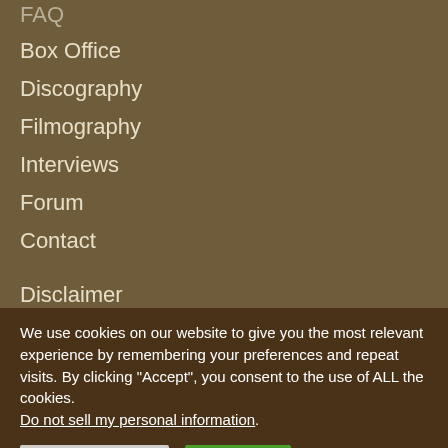FAQ
Box Office
Discography
Filmography
Interviews
Forum
Contact
Disclaimer
Privacy Policy
We use cookies on our website to give you the most relevant experience by remembering your preferences and repeat visits. By clicking “Accept”, you consent to the use of ALL the cookies. Do not sell my personal information.
Cookie Settings | Accept